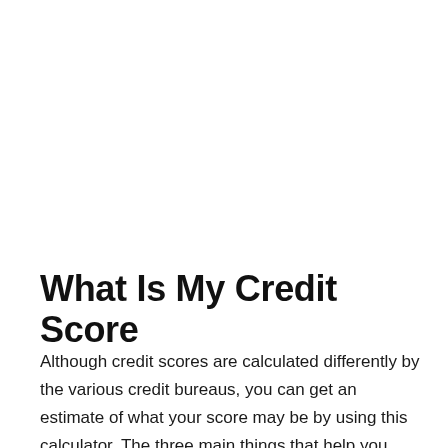What Is My Credit Score
Although credit scores are calculated differently by the various credit bureaus, you can get an estimate of what your score may be by using this calculator. The three main things that help you have a good credit score are first, having a long